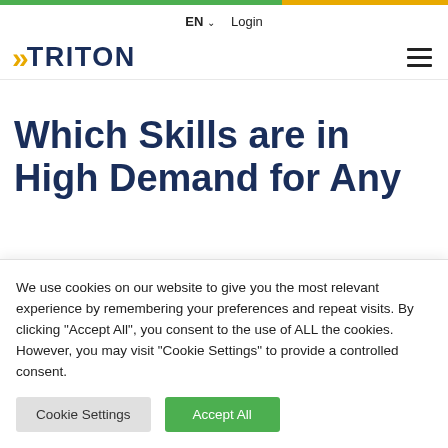EN  Login
[Figure (logo): Triton logo with double chevron in gold/yellow and TRITON text in dark navy blue]
Which Skills are in High Demand for Any
We use cookies on our website to give you the most relevant experience by remembering your preferences and repeat visits. By clicking "Accept All", you consent to the use of ALL the cookies. However, you may visit "Cookie Settings" to provide a controlled consent.